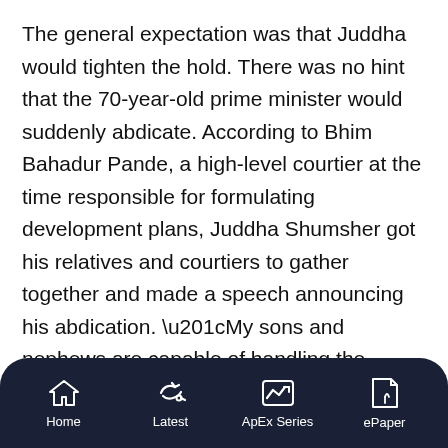The general expectation was that Juddha would tighten the hold. There was no hint that the 70-year-old prime minister would suddenly abdicate. According to Bhim Bahadur Pande, a high-level courtier at the time responsible for formulating development plans, Juddha Shumsher got his relatives and courtiers to gather together and made a speech announcing his abdication. “My sons and nephews are capable of handling the affairs of the state, so I’m following in the footsteps of some of the Kshatriya kings of the Raghu dynasty, who after reaching a certain age abdicated the throne and entered the forest to meditate. (Sardar Bhim
Home  Latest  ApEx Series  ePaper